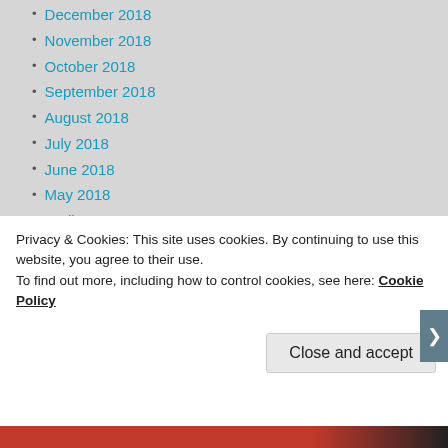December 2018
November 2018
October 2018
September 2018
August 2018
July 2018
June 2018
May 2018
April 2018
March 2018
February 2018
January 2018
December 2017
November 2017
October 2017
September 2017
August 2017
July 2017
Privacy & Cookies: This site uses cookies. By continuing to use this website, you agree to their use.
To find out more, including how to control cookies, see here: Cookie Policy
Close and accept